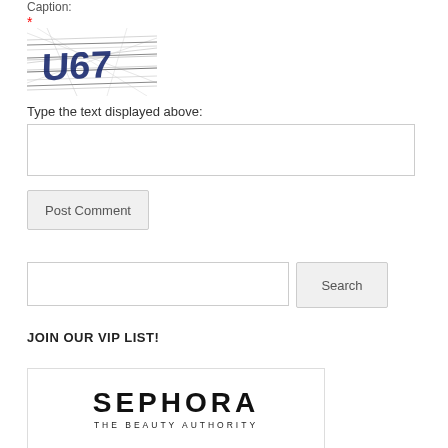Caption:
*
[Figure (other): CAPTCHA image showing distorted text 'U67' with horizontal lines and noise]
Type the text displayed above:
[text input field]
Post Comment
[search input field]
Search
JOIN OUR VIP LIST!
[Figure (logo): Sephora logo: 'SEPHORA' in large bold letters, 'THE BEAUTY AUTHORITY' below in smaller spaced letters]